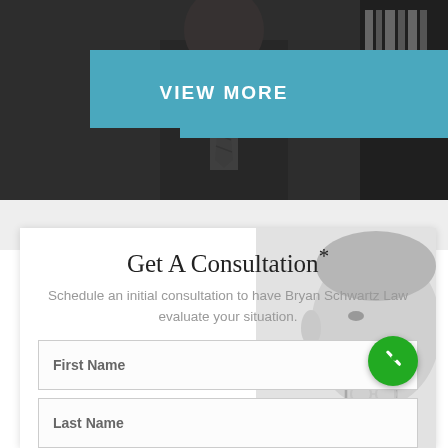[Figure (photo): Dark hero background photo of a person in suit and tie, grayscale]
VIEW MORE
Get A Consultation*
Schedule an initial consultation to have Bryan Schwartz Law evaluate your situation.
First Name
Last Name